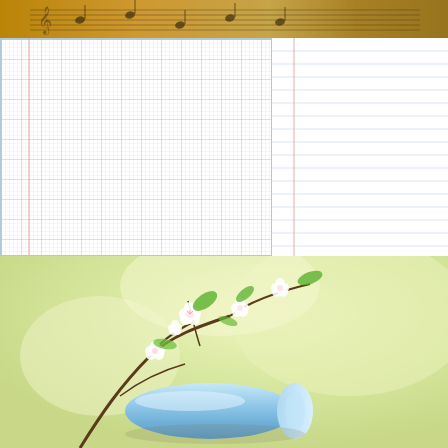[Figure (photo): Close-up of sheet music with musical notes and a blurred golden/brown background, likely a cat or warm-toned object]
[Figure (other): Graph paper with a fine blue grid pattern and a thicker red vertical line near the left margin]
[Figure (other): Lined notebook paper with horizontal blue lines and a vertical red margin line]
[Figure (photo): Soft-focus photo of white cherry blossoms with green leaves and a rolled blue fabric/towel, warm yellow-green bokeh background]